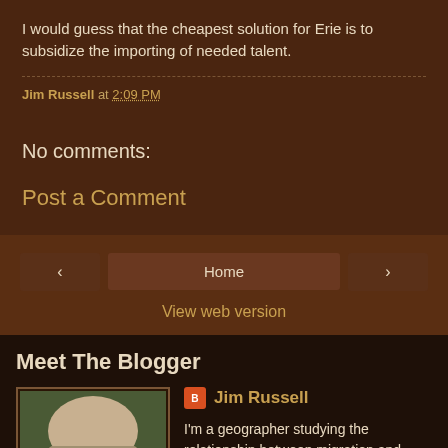I would guess that the cheapest solution for Erie is to subsidize the importing of needed talent.
Jim Russell at 2:09 PM
No comments:
Post a Comment
Home
View web version
Meet The Blogger
Jim Russell
[Figure (photo): Magazine cover showing Erie's Future with a person in a hard hat]
I'm a geographer studying the relationship between migration and economic development.